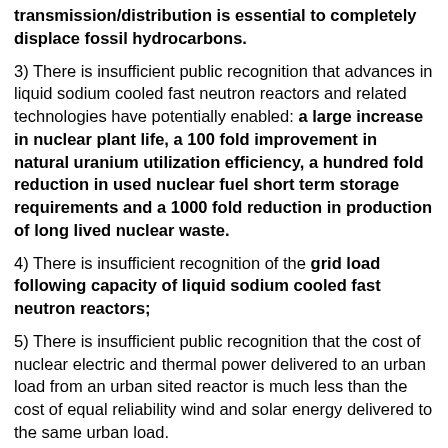transmission/distribution is essential to completely displace fossil hydrocarbons.
3) There is insufficient public recognition that advances in liquid sodium cooled fast neutron reactors and related technologies have potentially enabled: a large increase in nuclear plant life, a 100 fold improvement in natural uranium utilization efficiency, a hundred fold reduction in used nuclear fuel short term storage requirements and a 1000 fold reduction in production of long lived nuclear waste.
4) There is insufficient recognition of the grid load following capacity of liquid sodium cooled fast neutron reactors;
5) There is insufficient public recognition that the cost of nuclear electric and thermal power delivered to an urban load from an urban sited reactor is much less than the cost of equal reliability wind and solar energy delivered to the same urban load.
6) Nuclear electricity kWh measured at the generator are more expensive than wind generated kWh measured at the generator but unlike wind, nuclear electricity is dependable, is 3 fold less expensive to transmit per kWh-km, involves about four fold shorter average transmission distances, does